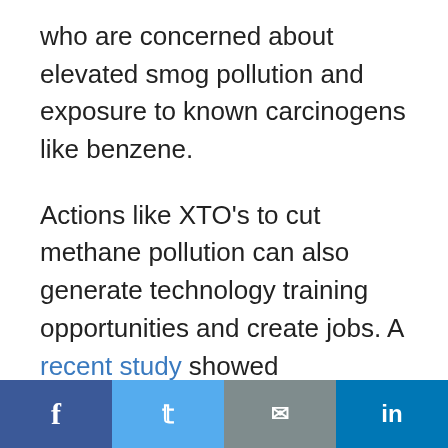who are concerned about elevated smog pollution and exposure to known carcinogens like benzene.
Actions like XTO's to cut methane pollution can also generate technology training opportunities and create jobs. A recent study showed companies in the methane mitigation sector have experienced 30 percent job growth in states that have stepped up with methane regulations. A major opportunity for New Mexico where economic development and new jobs are sorely needed. XTO has indicated that it will
Facebook | Twitter | Email | LinkedIn